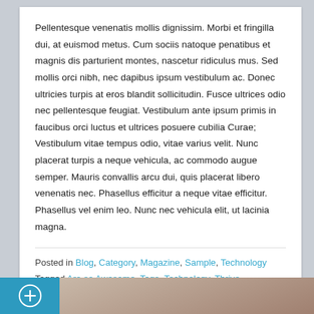Pellentesque venenatis mollis dignissim. Morbi et fringilla dui, at euismod metus. Cum sociis natoque penatibus et magnis dis parturient montes, nascetur ridiculus mus. Sed mollis orci nibh, nec dapibus ipsum vestibulum ac. Donec ultricies turpis at eros blandit sollicitudin. Fusce ultrices odio nec pellentesque feugiat. Vestibulum ante ipsum primis in faucibus orci luctus et ultrices posuere cubilia Curae; Vestibulum vitae tempus odio, vitae varius velit. Nunc placerat turpis a neque vehicula, ac commodo augue semper. Mauris convallis arcu dui, quis placerat libero venenatis nec. Phasellus efficitur a neque vitae efficitur. Phasellus vel enim leo. Nunc nec vehicula elit, ut lacinia magna.
Posted in Blog, Category, Magazine, Sample, Technology
Tagged Are so Awesome, Tags, Technology, Thrive
Add Comment